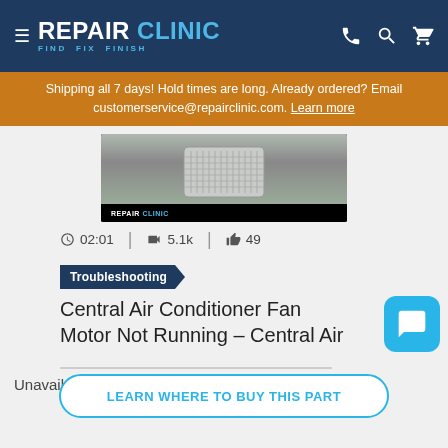REPAIR CLINIC — FIND. FIX. FINISH.
Shipping all 7 days! Hold times are long. Already ordered? Email customerservice@repairclinic.com. Learn more
[Figure (screenshot): Video thumbnail showing a central air conditioner unit with Repair Clinic logo overlay, black bar at bottom, set against gray background]
02:01  |  5.1k  |  49
Troubleshooting
Central Air Conditioner Fan Motor Not Running – Central Air
Unavailable
LEARN WHERE TO BUY THIS PART